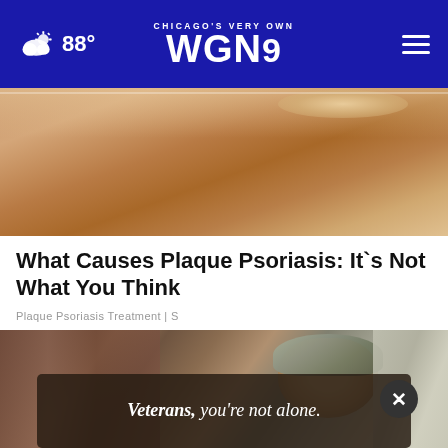CHICAGO'S VERY OWN WGN9 88°
[Figure (photo): Close-up of human skin with warm tan/brown tones showing texture, possibly related to plaque psoriasis article]
What Causes Plaque Psoriasis: It`s Not What You Think
Plaque Psoriasis Treatment | S
[Figure (photo): Military soldier in camouflage uniform and cap leaning against a brick wall, with an advertisement overlay reading 'Veterans, you're not alone.' and a close button]
Veterans, you're not alone.